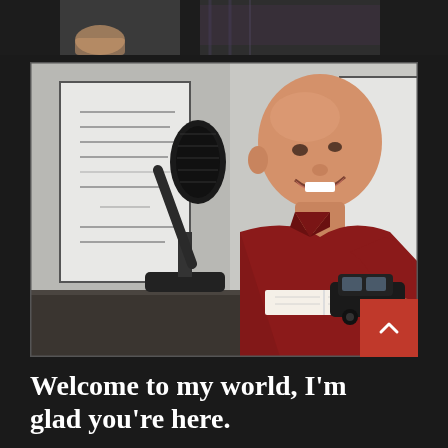[Figure (photo): A bald smiling man in a dark red polo shirt sitting at a desk with a black podcast microphone on a stand, an open notebook, and a small black toy SUV on the desk. Behind him are framed text prints on a light gray wall.]
Welcome to my world, I'm glad you're here.